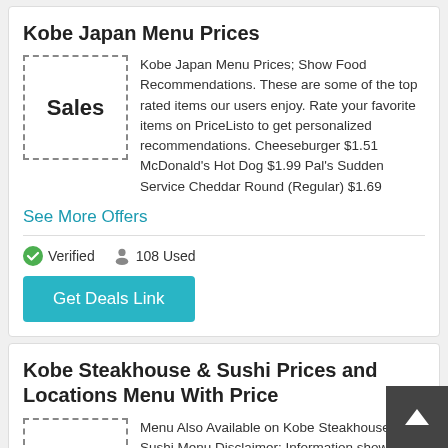Kobe Japan Menu Prices
[Figure (other): Dashed border box with 'Sales' text inside]
Kobe Japan Menu Prices; Show Food Recommendations. These are some of the top rated items our users enjoy. Rate your favorite items on PriceListo to get personalized recommendations. Cheeseburger $1.51 McDonald's Hot Dog $1.99 Pal's Sudden Service Cheddar Round (Regular) $1.69
See More Offers
Verified   108 Used
Get Deals Link
Kobe Steakhouse & Sushi Prices and Locations Menu With Price
[Figure (other): Dashed border box with 'Sales' text inside]
Menu Also Available on Kobe Steakhouse & Sushi Menu Disclaimer: Information shown on the website may not cover recent changes. For current price and menu information, please contact the restaurant directly. People Are Reading. There is More to Cinnamon than